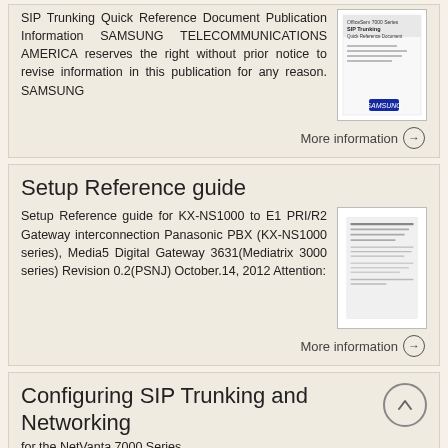SIP Trunking Quick Reference Document Publication Information SAMSUNG TELECOMMUNICATIONS AMERICA reserves the right without prior notice to revise information in this publication for any reason. SAMSUNG
[Figure (other): Thumbnail image of SIP Trunking Quick Reference Document cover with Samsung branding]
More information →
Setup Reference guide
Setup Reference guide for KX-NS1000 to E1 PRI/R2 Gateway interconnection Panasonic PBX (KX-NS1000 series), Media5 Digital Gateway 3631(Mediatrix 3000 series) Revision 0.2(PSNJ) October.14, 2012 Attention:
[Figure (other): Thumbnail image of Setup Reference guide document with text lines]
More information →
Configuring SIP Trunking and Networking for the NetVanta 7000 Series